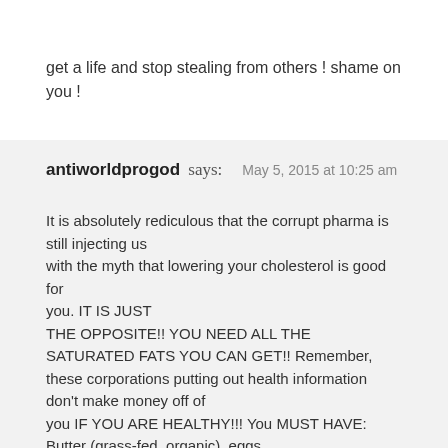get a life and stop stealing from others ! shame on you !
antiworldprogod says: May 5, 2015 at 10:25 am
It is absolutely rediculous that the corrupt pharma is still injecting us with the myth that lowering your cholesterol is good for you. IT IS JUST THE OPPOSITE!! YOU NEED ALL THE SATURATED FATS YOU CAN GET!! Remember, these corporations putting out health information don't make money off of you IF YOU ARE HEALTHY!!! You MUST HAVE: Butter (grass-fed, organic), eggs (mainly yolks), bacon (YES, the saturated fats in bacon